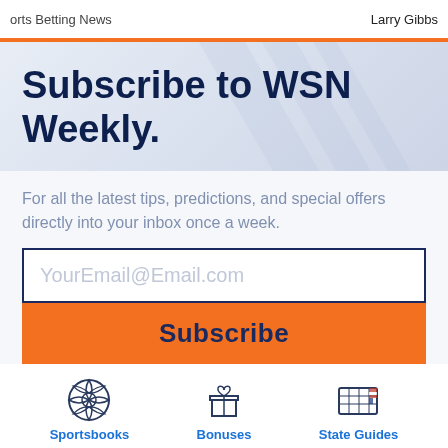orts Betting News   Larry Gibbs
Subscribe to WSN Weekly.
For all the latest tips, predictions, and special offers directly into your inbox once a week.
[Figure (screenshot): Email input field with placeholder text YourEmail@Email.com]
[Figure (screenshot): Orange Subscribe button]
[Figure (infographic): Three icon links: Sportsbooks (soccer ball icon), Bonuses (gift box icon), State Guides (US flag icon)]